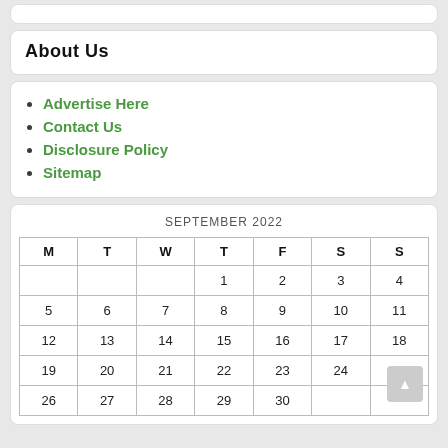About Us
Advertise Here
Contact Us
Disclosure Policy
Sitemap
| M | T | W | T | F | S | S |
| --- | --- | --- | --- | --- | --- | --- |
|  |  |  | 1 | 2 | 3 | 4 |
| 5 | 6 | 7 | 8 | 9 | 10 | 11 |
| 12 | 13 | 14 | 15 | 16 | 17 | 18 |
| 19 | 20 | 21 | 22 | 23 | 24 | 25 |
| 26 | 27 | 28 | 29 | 30 |  |  |